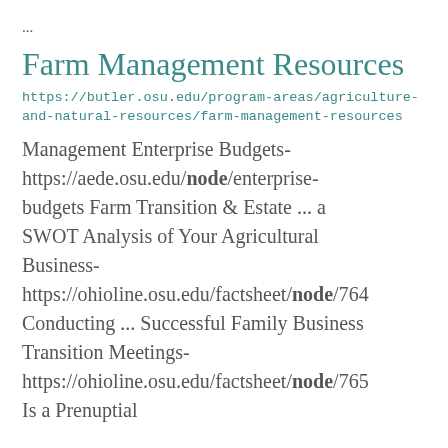...
Farm Management Resources
https://butler.osu.edu/program-areas/agriculture-and-natural-resources/farm-management-resources
Management Enterprise Budgets- https://aede.osu.edu/node/enterprise-budgets Farm Transition & Estate ... a SWOT Analysis of Your Agricultural Business- https://ohioline.osu.edu/factsheet/node/764 Conducting ... Successful Family Business Transition Meetings- https://ohioline.osu.edu/factsheet/node/765 Is a Prenuptial